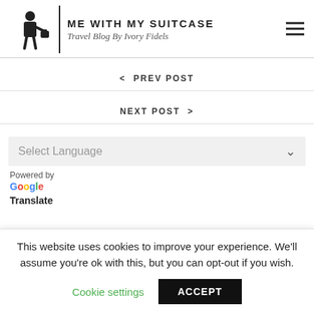Me With My Suitcase — Travel Blog By Ivory Fidels
< PREV POST
NEXT POST >
Select Language
Powered by
Google
Translate
This website uses cookies to improve your experience. We'll assume you're ok with this, but you can opt-out if you wish.
Cookie settings
ACCEPT